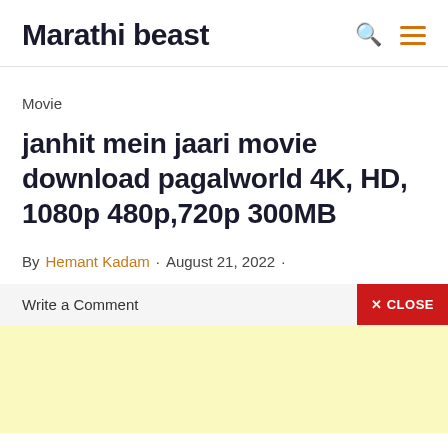Marathi beast
Movie
janhit mein jaari movie download pagalworld 4K, HD, 1080p 480p,720p 300MB
By Hemant Kadam · August 21, 2022 ·
Write a Comment
[Figure (other): Yellow advertisement area at bottom of page]